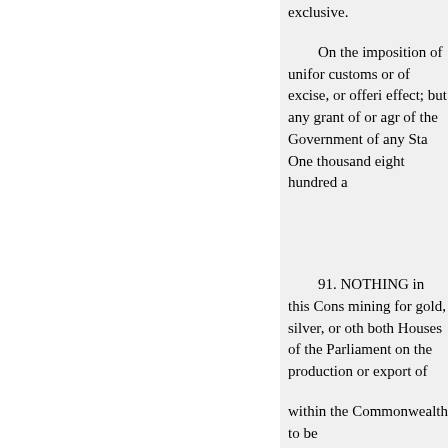exclusive.
On the imposition of uniform customs or of excise, or offering effect; but any grant of or agre of the Government of any Sta One thousand eight hundred a
91. NOTHING in this Cons mining for gold, silver, or oth both Houses of the Parliament on the production or export of
within the Commonwealth to be
92. ON the imposition of un States, whether by means of T
But notwithstanding anythin uniform duties of customs into therein, becomes a State, shall imposition of such duties, be l Commonwealth, less any dut